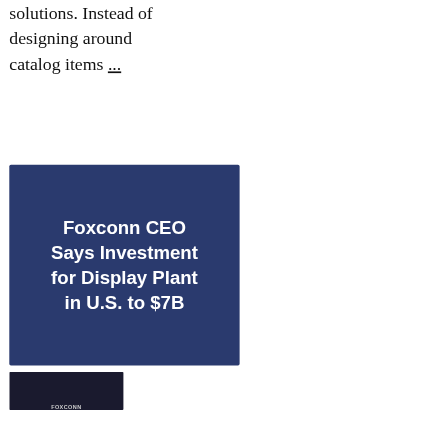solutions. Instead of designing around catalog items ...
[Figure (other): Dark blue banner graphic with bold white text reading: Foxconn CEO Says Investment for Display Plant in U.S. to $7B]
[Figure (photo): Partial photo showing a Foxconn display/monitor with Foxconn logo in dark blue lighting]